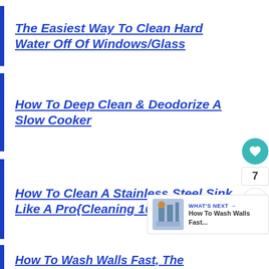The Easiest Way To Clean Hard Water Off Of Windows/Glass
How To Deep Clean & Deodorize A Slow Cooker
How To Clean A Stainless Steel Sink Like A Pro{Cleaning 101}
How To Wash Walls Fast, The
[Figure (infographic): Floating UI overlay with heart/like button (teal circle with heart icon), count box showing 7, and share button (circle with share icon). Below it is a 'What's Next' widget showing a thumbnail image and text 'How To Wash Walls Fast...']